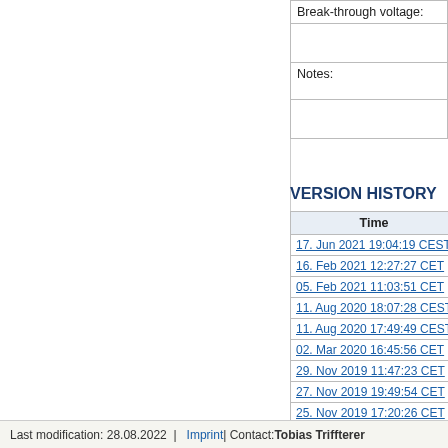| Break-through voltage: |  |
| --- | --- |
|  |  |
| Notes: |  |
VERSION HISTORY
| Time |  |
| --- | --- |
| 17. Jun 2021 19:04:19 CEST | o |
| 16. Feb 2021 12:27:27 CET | jr |
| 05. Feb 2021 11:03:51 CET | jr |
| 11. Aug 2020 18:07:28 CEST | jr |
| 11. Aug 2020 17:49:49 CEST | jr |
| 02. Mar 2020 16:45:56 CET | v |
| 29. Nov 2019 11:47:23 CET | jr |
| 27. Nov 2019 19:49:54 CET | jr |
| 25. Nov 2019 17:20:26 CET | jr |
| 30. Aug 2019 11:26:50 CEST | jg |
| 05. Jul 2019 13:52:21 CEST | jr |
| 03. Jan 2019 00:14:30 CET | T |
| 06. Jul 2018 22:38:52 CEST | T |
Last modification: 28.08.2022  | Imprint | Contact: Tobias Triffterer